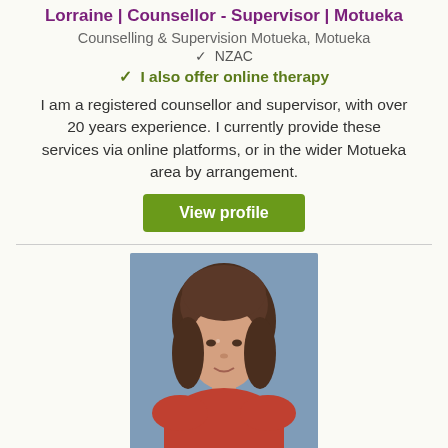Lorraine | Counsellor - Supervisor | Motueka
Counselling & Supervision Motueka, Motueka
✓ NZAC
✓ I also offer online therapy
I am a registered counsellor and supervisor, with over 20 years experience. I currently provide these services via online platforms, or in the wider Motueka area by arrangement.
View profile
[Figure (photo): Portrait photo of a woman with short brown hair wearing a red top, against a blue background]
Jo | Counselling - Couples counselling | Motueka